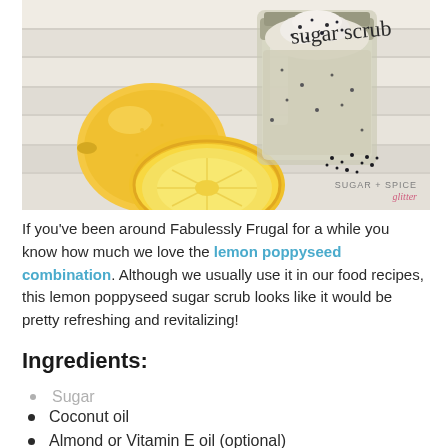[Figure (photo): A mason jar filled with lemon poppyseed sugar scrub, with a whole lemon and a halved lemon placed beside it on a white wooden surface. Poppy seeds are scattered nearby. Text 'sugar scrub' in cursive appears in the top right, and 'SUGAR + SPICE glitter' watermark in the bottom right corner.]
If you’ve been around Fabulessly Frugal for a while you know how much we love the lemon poppyseed combination. Although we usually use it in our food recipes, this lemon poppyseed sugar scrub looks like it would be pretty refreshing and revitalizing!
Ingredients:
Sugar
Coconut oil
Almond or Vitamin E oil (optional)